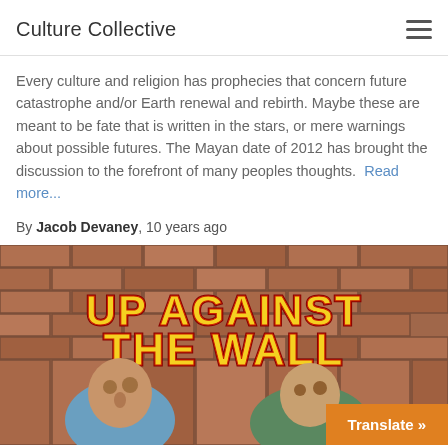Culture Collective
Every culture and religion has prophecies that concern future catastrophe and/or Earth renewal and rebirth. Maybe these are meant to be fate that is written in the stars, or mere warnings about possible futures. The Mayan date of 2012 has brought the discussion to the forefront of many peoples thoughts. Read more...
By Jacob Devaney, 10 years ago
[Figure (photo): Graffiti mural on a brick wall reading 'UP AGAINST THE WALL' in large yellow and red graffiti letters, with painted faces visible below. An orange 'Translate »' button overlay appears in the bottom right corner.]